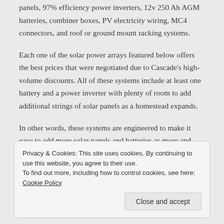panels, 97% efficiency power inverters, 12v 250 Ah AGM batteries, combiner boxes, PV electricity wiring, MC4 connectors, and roof or ground mount racking systems.
Each one of the solar power arrays featured below offers the best prices that were negotiated due to Cascade's high-volume discounts. All of these systems include at least one battery and a power inverter with plenty of room to add additional strings of solar panels as a homestead expands.
In other words, these systems are engineered to make it easy to add more solar panels and batteries as more and more solar electricity is needed or as the customer has more funds to spend
Privacy & Cookies: This site uses cookies. By continuing to use this website, you agree to their use.
To find out more, including how to control cookies, see here: Cookie Policy
Close and accept